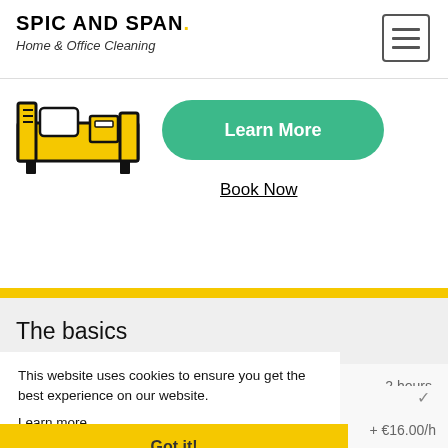SPIC AND SPAN. Home & Office Cleaning
[Figure (illustration): Yellow and black icon of a bed/furniture]
Learn More
Book Now
The basics
Minimum Duration   2 hours
English-speaking cleaner   ✓
Last-minute service   + €16.00/h
This website uses cookies to ensure you get the best experience on our website.
Learn more
Got it!
Subscribe & save   ✓